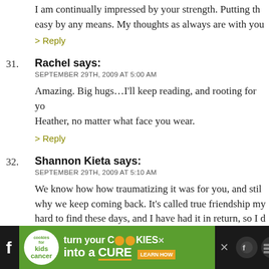I am continually impressed by your strength. Putting th… easy by any means. My thoughts as always are with you…
> Reply
31. Rachel says:
SEPTEMBER 29TH, 2009 AT 5:00 AM
Amazing. Big hugs…I'll keep reading, and rooting for yo… Heather, no matter what face you wear.
> Reply
32. Shannon Kieta says:
SEPTEMBER 29TH, 2009 AT 5:10 AM
We know how how traumatizing it was for you, and stil… why we keep coming back. It's called true friendship my… hard to find these days, and I have had it in return, so I d… is like. You are one lucky woman to have SO many faith… cyberspace and around you. I know you would give it al…
[Figure (screenshot): Advertisement banner: cookies for kids cancer - turn your COOKIES into a CURE LEARN HOW]